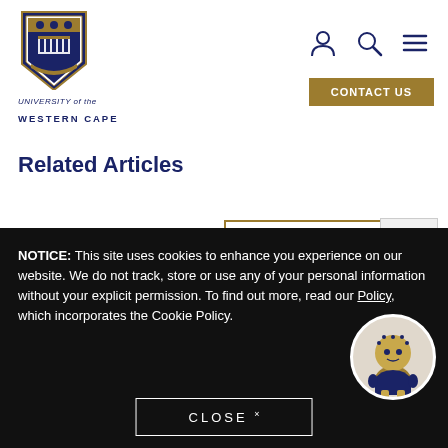[Figure (logo): University of the Western Cape crest/shield logo in blue and gold]
UNIVERSITY of the
WESTERN CAPE
[Figure (other): Navigation icons: person (account), search (magnifying glass), hamburger menu]
CONTACT US
Related Articles
VIEW A
[Figure (other): Share icon button with arrow branching into three circles]
[Figure (photo): Small thumbnail image for the article]
UWC Vaccination Centre To Close At The End Of August 2022
NOTICE: This site uses cookies to enhance you experience on our website. We do not track, store or use any of your personal information without your explicit permission. To find out more, read our Policy, which incorporates the Cookie Policy.
CLOSE ×